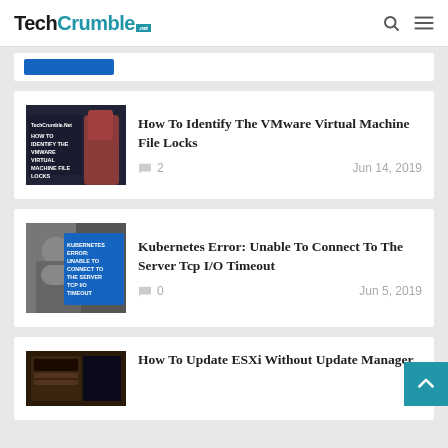TechCrumble.net
[Figure (screenshot): Partial article card partially visible at top]
[Figure (photo): Article thumbnail: How To Identify The VMware Virtual Machine File Locks - dark image with text overlay]
How To Identify The VMware Virtual Machine File Locks
2   Jun 14, 2019
[Figure (photo): Article thumbnail: Kubernetes Error: Unable To Connect To The Server Tcp I/O Timeout - blue graphic with woman in background]
Kubernetes Error: Unable To Connect To The Server Tcp I/O Timeout
0   Jun 5, 2019
[Figure (photo): Article thumbnail: How To Update ESXi Host Without Update Manager - partial]
How To Update ESXi Without Update Manager